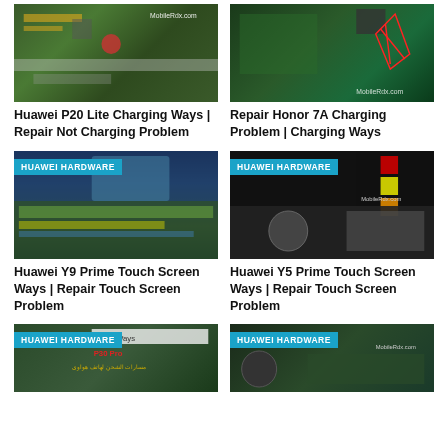[Figure (photo): Circuit board image for Huawei P20 Lite charging ways repair guide]
Huawei P20 Lite Charging Ways | Repair Not Charging Problem
[Figure (photo): Circuit board schematic for Repair Honor 7A Charging Problem]
Repair Honor 7A Charging Problem | Charging Ways
[Figure (photo): Circuit board image with HUAWEI HARDWARE badge for Huawei Y9 Prime Touch Screen Ways]
Huawei Y9 Prime Touch Screen Ways | Repair Touch Screen Problem
[Figure (photo): Circuit board image with HUAWEI HARDWARE badge for Huawei Y5 Prime Touch Screen Ways]
Huawei Y5 Prime Touch Screen Ways | Repair Touch Screen Problem
[Figure (photo): Circuit board image with HUAWEI HARDWARE badge, P30 Pro charging ways]
[Figure (photo): Circuit board image with HUAWEI HARDWARE badge, bottom right card]